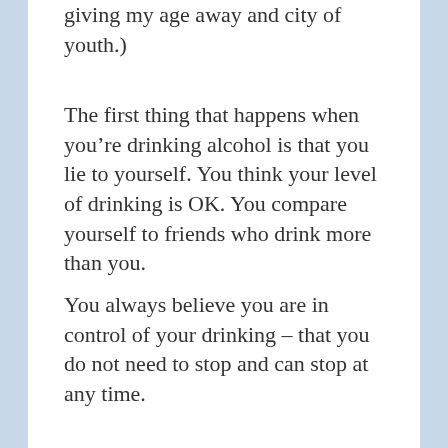giving my age away and city of youth.)
The first thing that happens when you’re drinking alcohol is that you lie to yourself. You think your level of drinking is OK. You compare yourself to friends who drink more than you.
You always believe you are in control of your drinking – that you do not need to stop and can stop at any time.